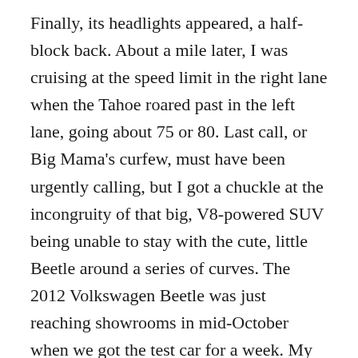Finally, its headlights appeared, a half-block back. About a mile later, I was cruising at the speed limit in the right lane when the Tahoe roared past in the left lane, going about 75 or 80. Last call, or Big Mama's curfew, must have been urgently calling, but I got a chuckle at the incongruity of that big, V8-powered SUV being unable to stay with the cute, little Beetle around a series of curves. The 2012 Volkswagen Beetle was just reaching showrooms in mid-October when we got the test car for a week. My wife, Joan, and I drove it as much as possible, around the Minneapolis-St. Paul area, then northward to Duluth, Minnesota. Several times, when we'd stop, people would be